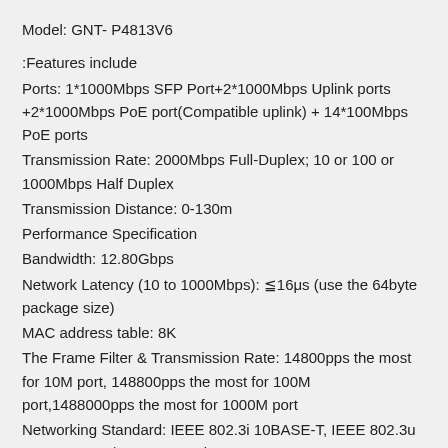Model: GNT- P4813V6
:Features include
Ports: 1*1000Mbps SFP Port+2*1000Mbps Uplink ports +2*1000Mbps PoE port(Compatible uplink) + 14*100Mbps PoE ports
Transmission Rate: 2000Mbps Full-Duplex; 10 or 100 or 1000Mbps Half Duplex
Transmission Distance: 0-130m
Performance Specification
Bandwidth: 12.80Gbps
Network Latency (10 to 1000Mbps): ≦16μs (use the 64byte package size)
MAC address table: 8K
The Frame Filter & Transmission Rate: 14800pps the most for 10M port, 148800pps the most for 100M port,1488000pps the most for 1000M port
Networking Standard: IEEE 802.3i 10BASE-T, IEEE 802.3u 100BASE-TX/ IEEE 802.3ab 1000BASE-T, IEEE